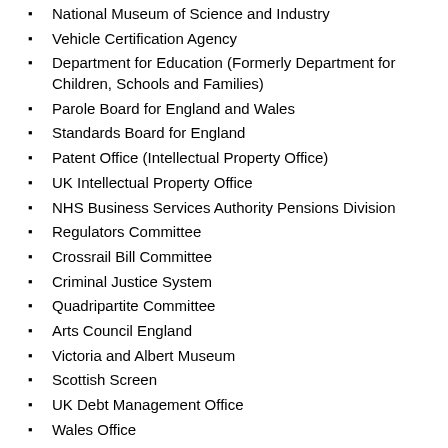National Museum of Science and Industry
Vehicle Certification Agency
Department for Education (Formerly Department for Children, Schools and Families)
Parole Board for England and Wales
Standards Board for England
Patent Office (Intellectual Property Office)
UK Intellectual Property Office
NHS Business Services Authority Pensions Division
Regulators Committee
Crossrail Bill Committee
Criminal Justice System
Quadripartite Committee
Arts Council England
Victoria and Albert Museum
Scottish Screen
UK Debt Management Office
Wales Office
Royal Armouries
Justice Committee
Disposal Services Agency
Defence Analytical Services Agency (DASA)